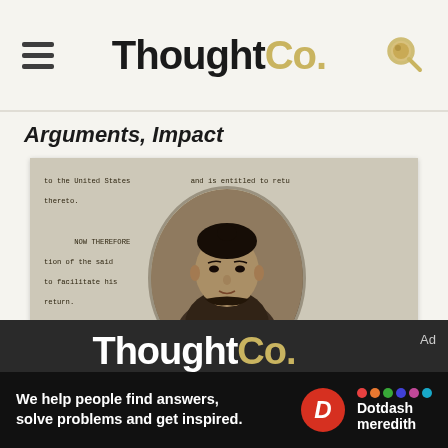ThoughtCo.
Arguments, Impact
[Figure (photo): Historical document scan showing typewritten text about Wong Kim Ark with an oval portrait photo of the subject, a Chinese man in traditional clothing, overlaid on the document. Text visible includes references to the United States, Wong Kim Ark, California, and San Francisco. The document appears to be a 19th century legal/immigration certificate.]
ThoughtCo. | Ad | We help people find answers, solve problems and get inspired. | Dotdash meredith